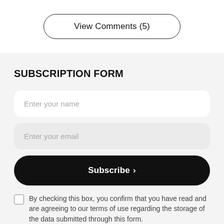View Comments (5)
SUBSCRIPTION FORM
Enter your name
Enter your email
Subscribe >
By checking this box, you confirm that you have read and are agreeing to our terms of use regarding the storage of the data submitted through this form.